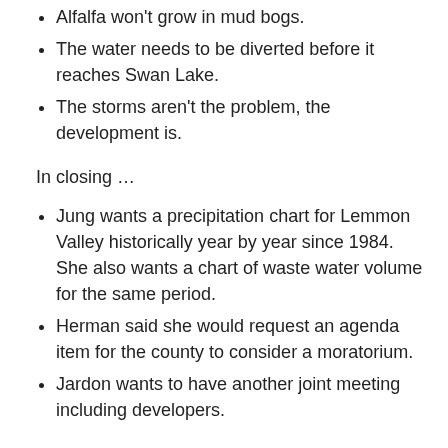Alfalfa won't grow in mud bogs.
The water needs to be diverted before it reaches Swan Lake.
The storms aren't the problem, the development is.
In closing …
Jung wants a precipitation chart for Lemmon Valley historically year by year since 1984.  She also wants a chart of waste water volume for the same period.
Herman said she would request an agenda item for the county to consider a moratorium.
Jardon wants to have another joint meeting including developers.